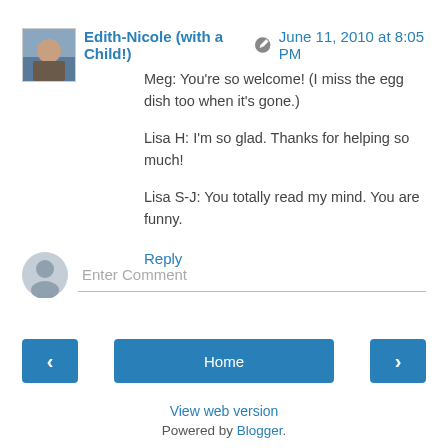Edith-Nicole (with a Child!) [edit icon] June 11, 2010 at 8:05 PM
Meg: You're so welcome! (I miss the egg dish too when it's gone.)

Lisa H: I'm so glad. Thanks for helping so much!

Lisa S-J: You totally read my mind. You are funny.
Reply
Enter Comment
Home
View web version
Powered by Blogger.